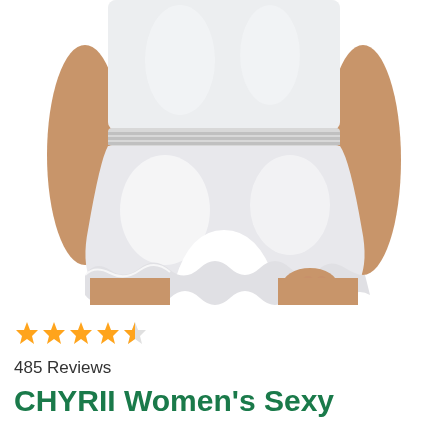[Figure (photo): A woman wearing white satin pajama shorts with ruffle trim and a white satin camisole top. Only the torso and lower body are visible, posed against a white background.]
485 Reviews
CHYRII Women's Sexy